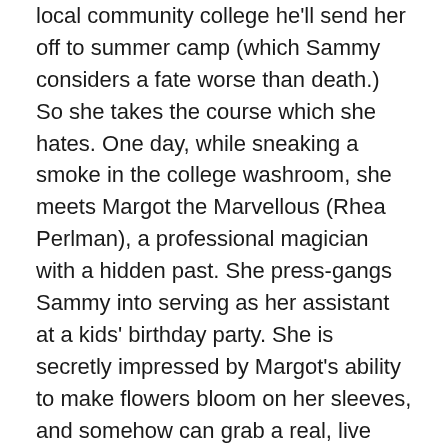local community college he'll send her off to summer camp (which Sammy considers a fate worse than death.) So she takes the course which she hates. One day, while sneaking a smoke in the college washroom, she meets Margot the Marvellous (Rhea Perlman), a professional magician with a hidden past. She press-gangs Sammy into serving as her assistant at a kids' birthday party. She is secretly impressed by Margot's ability to make flowers bloom on her sleeves, and somehow can grab a real, live white rabbit out of thin air. So they make a pact: Sammy will help Margot with her show in exchange for teaching her magic tricks and helping her pass the course. But will Sammy ever learn to control her anger and escape from the black hole she's been stuck in since the death of her mother?
Marvellous and the Black Hole is an excellent coming-of-